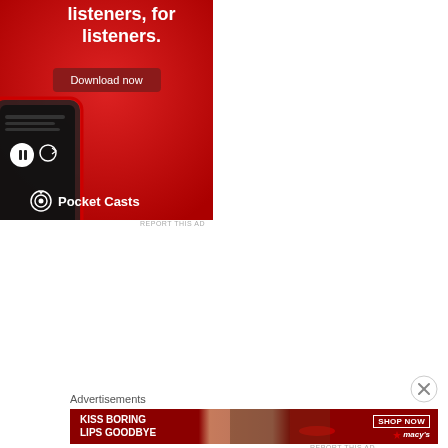[Figure (illustration): Pocket Casts advertisement on red background. Text reads 'listeners, for listeners.' with a 'Download now' button, a phone device shown, and Pocket Casts logo at the bottom.]
REPORT THIS AD
[Figure (illustration): Close/dismiss button (circle with X) for advertisement]
Advertisements
[Figure (illustration): Macy's advertisement banner. Text reads 'KISS BORING LIPS GOODBYE' with a woman's face and red lips photo, 'SHOP NOW' button, and Macy's star logo.]
REPORT THIS AD